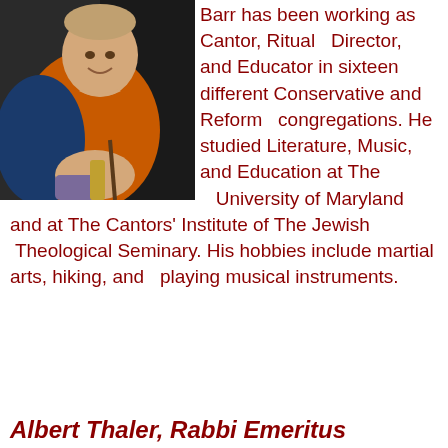[Figure (photo): Person in orange sweater smiling, holding a cane or stick, indoor setting with dark curtain background]
Barr has been working as Cantor, Ritual   Director, and Educator in sixteen different Conservative and Reform   congregations. He studied Literature, Music, and Education at The   University of Maryland and at The Cantors' Institute of The Jewish  Theological Seminary. His hobbies include martial arts, hiking, and   playing musical instruments.
Albert Thaler, Rabbi Emeritus